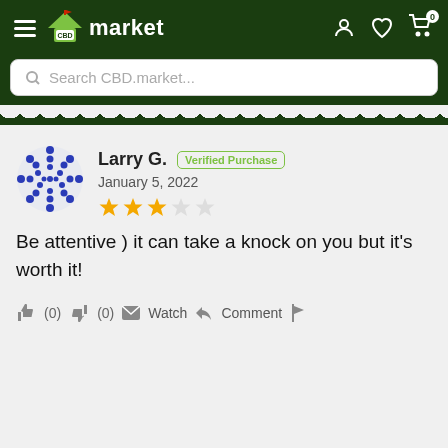CBD market
Search CBD.market...
Larry G. | Verified Purchase | January 5, 2022 | 3 stars
Be attentive ) it can take a knock on you but it's worth it!
(0) (0) Watch Comment